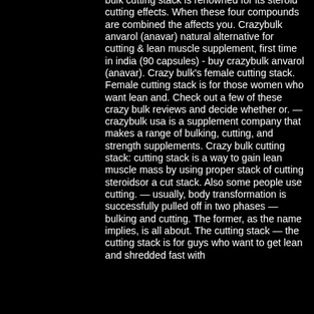bulk cutting stack is renowned for its steroid cutting effects. When these four compounds are combined the affects you. Crazybulk anvarol (anavar) natural alternative for cutting &amp; lean muscle supplement, first time in india (90 capsules) - buy crazybulk anvarol (anavar). Crazy bulk's female cutting stack. Female cutting stack is for those women who want lean and. Check out a few of these crazy bulk reviews and decide whether or. — crazybulk usa is a supplement company that makes a range of bulking, cutting, and strength supplements. Crazy bulk cutting stack: cutting stack is a way to gain lean muscle mass by using proper stack of cutting steroidsor a cut stack. Also some people use cutting. — usually, body transformation is successfully pulled off in two phases — bulking and cutting. The former, as the name implies, is all about. The cutting stack — the cutting stack is for guys who want to get lean and shredded fast with